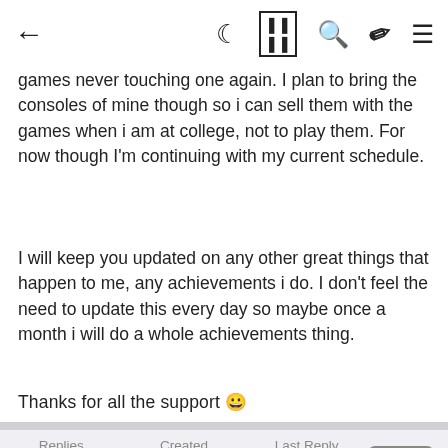← 🌙 ▦ 🔍 ✏ ≡
play until the last week of July. The first time my mom tells me "its games never touching one again. I plan to bring the consoles of mine though so i can sell them with the games when i am at college, not to play them. For now though I'm continuing with my current schedule.
I will keep you updated on any other great things that happen to me, any achievements i do. I don't feel the need to update this every day so maybe once a month i will do a whole achievements thing.
Thanks for all the support 🙂
| Replies | Created | Last Reply |
| --- | --- | --- |
| 105 | 1 yr | 1 yr |
Bird By Bird +163